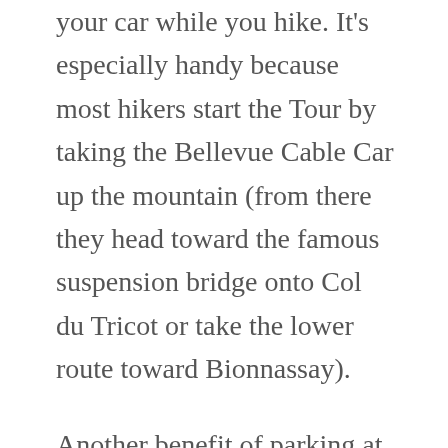your car while you hike. It's especially handy because most hikers start the Tour by taking the Bellevue Cable Car up the mountain (from there they head toward the famous suspension bridge onto Col du Tricot or take the lower route toward Bionnassay).
Another benefit of parking at this lot is that you'll find the TMB Hiker-Friendly Kitsch Inn there, behind the Bellevue station. If you're a TMB hiker, as the Kitsch about their hiker freebie. They also offer kids' meals, which is helpful if you're hiking with children.